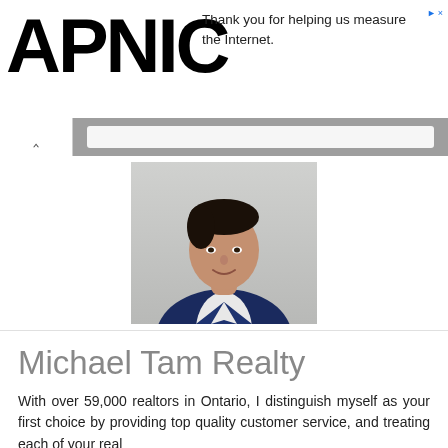Thank you for helping us measure the Internet.
[Figure (photo): Professional headshot of Michael Tam wearing a navy blue blazer and white shirt, against a light grey background]
Michael Tam Realty
With over 59,000 realtors in Ontario, I distinguish myself as your first choice by providing top quality customer service, and treating each of your real